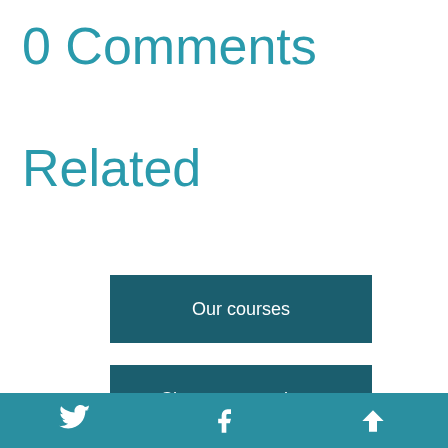0 Comments
Related
Our courses
Chat to our students
Twitter Facebook Up